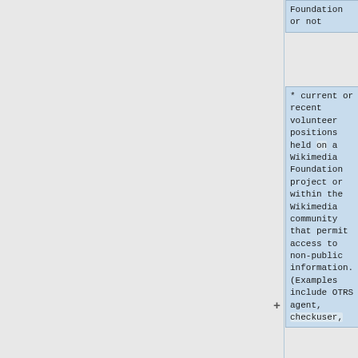Foundation or not
* current or recent volunteer positions held on a Wikimedia Foundation project or within the Wikimedia community that permit access to non-public information. (Examples include OTRS agent, checkuser,